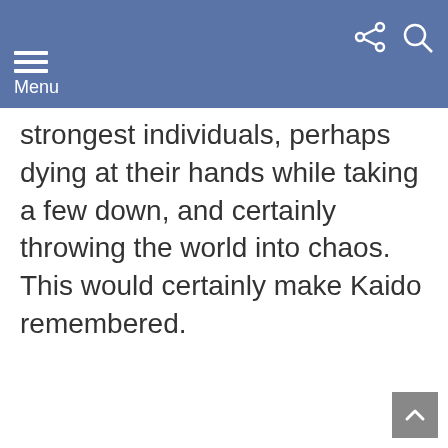Menu
strongest individuals, perhaps dying at their hands while taking a few down, and certainly throwing the world into chaos. This would certainly make Kaido remembered.